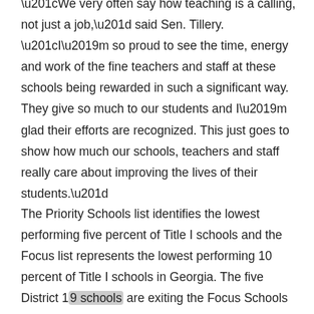“We very often say how teaching is a calling, not just a job,” said Sen. Tillery. “I’m so proud to see the time, energy and work of the fine teachers and staff at these schools being rewarded in such a significant way. They give so much to our students and I’m glad their efforts are recognized. This just goes to show how much our schools, teachers and staff really care about improving the lives of their students.”
The Priority Schools list identifies the lowest performing five percent of Title I schools and the Focus list represents the lowest performing 10 percent of Title I schools in Georgia. The five District 19 schools are exiting the Focus Schools list and are part of the 74